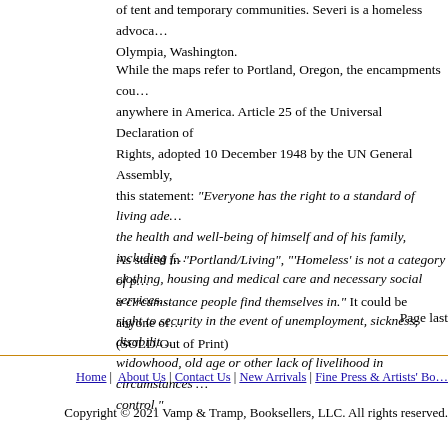of tent and temporary communities. Severi is a homeless advoca... Olympia, Washington.
While the maps refer to Portland, Oregon, the encampments could be anywhere in America. Article 25 of the Universal Declaration of Rights, adopted 10 December 1948 by the UN General Assembly, this statement: "Everyone has the right to a standard of living adequate for the health and well-being of himself and of his family, including food, clothing, housing and medical care and necessary social services, and the right to security in the event of unemployment, sickness, disability, widowhood, old age or other lack of livelihood in circumstances beyond his control."
As stated in "Portland/Living", "'Homeless' is not a category of people; it is a circumstance people find themselves in." It could be anyone of us. (SOLD/Out of Print)
Page last
Home | About Us | Contact Us | New Arrivals | Fine Press & Artists' Bo...
Copyright © 2021 Vamp & Tramp, Booksellers, LLC. All rights reserved.